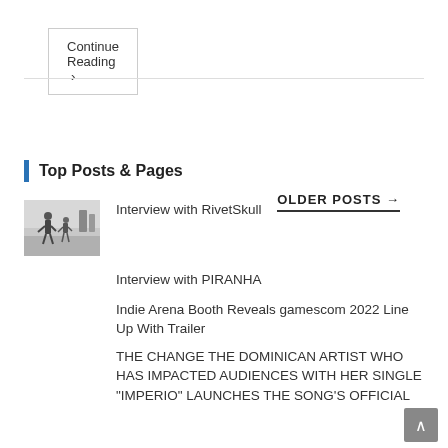Continue Reading ›
OLDER POSTS →
Top Posts & Pages
Interview with RivetSkull
Interview with PIRANHA
Indie Arena Booth Reveals gamescom 2022 Line Up With Trailer
THE CHANGE THE DOMINICAN ARTIST WHO HAS IMPACTED AUDIENCES WITH HER SINGLE "IMPERIO" LAUNCHES THE SONG'S OFFICIAL